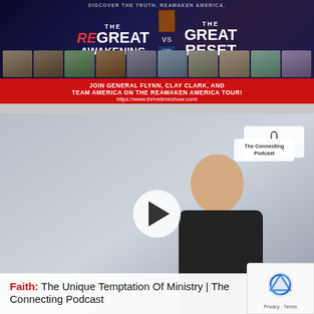[Figure (photo): Banner advertisement for 'The Great Reawakening vs The Great Reset' featuring General Flynn and Clay Clark, with URL https://www.thrivetimeshow.com/]
[Figure (screenshot): Video thumbnail showing a man speaking at a podium with The Connecting Podcast badge, play button overlay]
Faith: The Unique Temptation Of Ministry | The Connecting Podcast